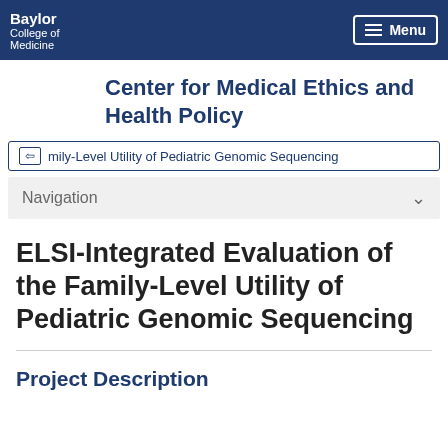Baylor College of Medicine
Center for Medical Ethics and Health Policy
Family-Level Utility of Pediatric Genomic Sequencing
Navigation
ELSI-Integrated Evaluation of the Family-Level Utility of Pediatric Genomic Sequencing
Project Description